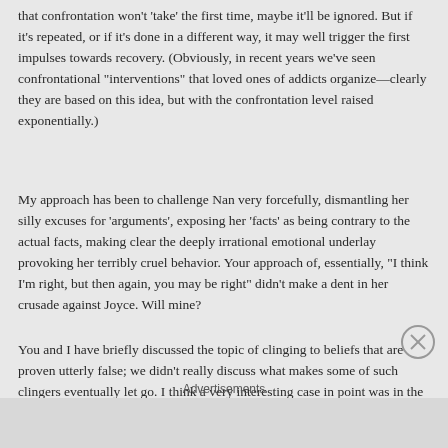that confrontation won't 'take' the first time, maybe it'll be ignored. But if it's repeated, or if it's done in a different way, it may well trigger the first impulses towards recovery. (Obviously, in recent years we've seen confrontational "interventions" that loved ones of addicts organize—clearly they are based on this idea, but with the confrontation level raised exponentially.)
My approach has been to challenge Nan very forcefully, dismantling her silly excuses for 'arguments', exposing her 'facts' as being contrary to the actual facts, making clear the deeply irrational emotional underlay provoking her terribly cruel behavior. Your approach of, essentially, "I think I'm right, but then again, you may be right" didn't make a dent in her crusade against Joyce. Will mine?
You and I have briefly discussed the topic of clinging to beliefs that are proven utterly false; we didn't really discuss what makes some of such clingers eventually let go. I think a very interesting case in point was in the news this past week—the Birthers, following Barack Obama's release of the Long Form Certificate
Advertisements